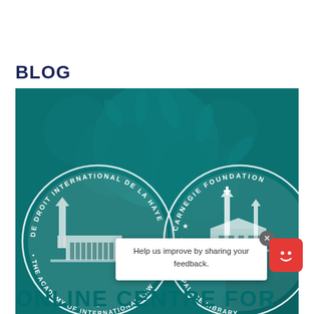BLOG
[Figure (illustration): Teal/green background with virus imagery. Two circular institutional logos overlaid: left circle reads 'DE DROIT INTERNATIONAL DE LA HAYE · THE ACADEMY OF INTERNATIONAL LAW' with a building silhouette; right circle reads 'CARNEGIE FOUNDATION · PEACE PALACE LIBRARY' with a peace palace building icon. White line art on teal background.]
Help us improve by sharing your feedback.
ONLINE CENTRE FOR